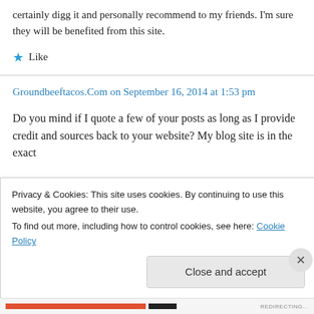certainly digg it and personally recommend to my friends. I'm sure they will be benefited from this site.
★ Like
Groundbeeftacos.Com on September 16, 2014 at 1:53 pm
Do you mind if I quote a few of your posts as long as I provide credit and sources back to your website? My blog site is in the exact
Privacy & Cookies: This site uses cookies. By continuing to use this website, you agree to their use.
To find out more, including how to control cookies, see here: Cookie Policy
Close and accept